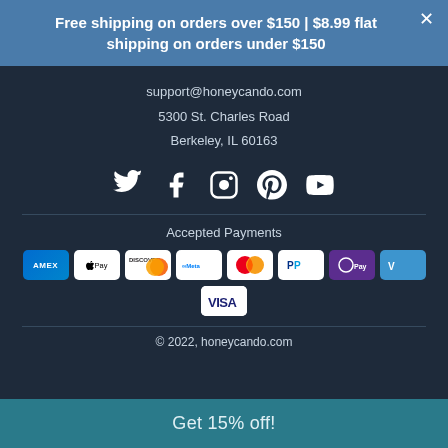Free shipping on orders over $150 | $8.99 flat shipping on orders under $150
support@honeycando.com
5300 St. Charles Road
Berkeley, IL 60163
[Figure (infographic): Social media icons: Twitter, Facebook, Instagram, Pinterest, YouTube]
[Figure (infographic): Payment method logos: American Express, Apple Pay, Discover, Meta Pay, Mastercard, PayPal, Samsung Pay/OPay, Venmo, Visa]
Accepted Payments
© 2022, honeycando.com
Get 15% off!